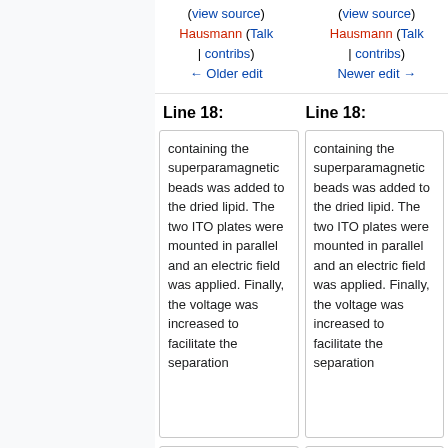(view source) Hausmann (Talk | contribs) ← Older edit
(view source) Hausmann (Talk | contribs) Newer edit →
Line 18:
Line 18:
containing the superparamagnetic beads was added to the dried lipid. The two ITO plates were mounted in parallel and an electric field was applied. Finally, the voltage was increased to facilitate the separation
containing the superparamagnetic beads was added to the dried lipid. The two ITO plates were mounted in parallel and an electric field was applied. Finally, the voltage was increased to facilitate the separation
of vesicles.
of vesicles.